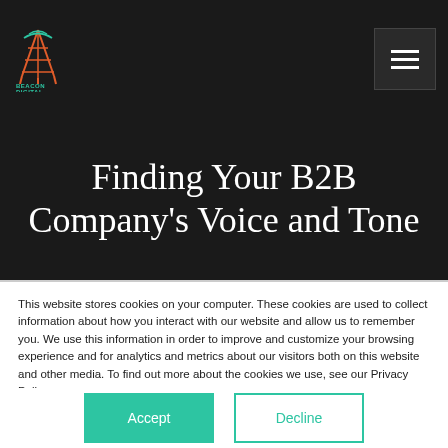Beacon Digital — navigation header with logo and hamburger menu
Finding Your B2B Company's Voice and Tone
This website stores cookies on your computer. These cookies are used to collect information about how you interact with our website and allow us to remember you. We use this information in order to improve and customize your browsing experience and for analytics and metrics about our visitors both on this website and other media. To find out more about the cookies we use, see our Privacy Policy.
If you decline, your information won't be tracked when you visit this website. A single cookie will be used in your browser to remember your preference not to be tracked.